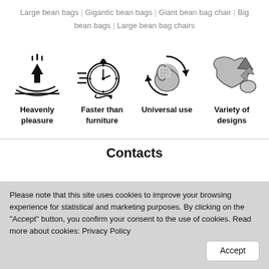Large bean bags | Gigantic bean bags | Giant bean bag chair | Big bean bags | Large bean bag chairs
[Figure (infographic): Four icons in a row: 1) Heavenly pleasure - arrow pressing down into a cushioned surface, 2) Faster than furniture - stopwatch with speed lines, 3) Universal use - bean bag chair with circular arrows indicating versatility, 4) Variety of designs - two bean bag shapes in grey]
Heavenly pleasure
Faster than furniture
Universal use
Variety of designs
Contacts
Please note that this site uses cookies to improve your browsing experience for statistical and marketing purposes. By clicking on the "Accept" button, you confirm your consent to the use of cookies. Read more about cookies: Privacy Policy